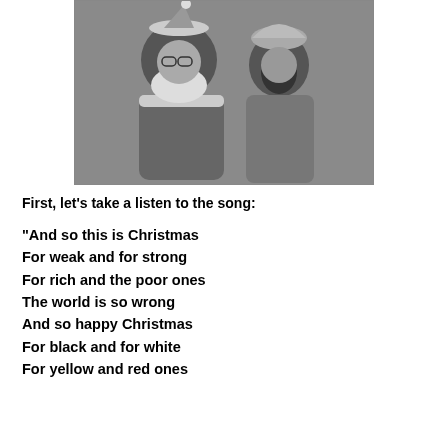[Figure (photo): Black and white photograph of two people, one dressed as Santa Claus and another person beside them]
First, let’s take a listen to the song:
“And so this is Christmas
For weak and for strong
For rich and the poor ones
The world is so wrong
And so happy Christmas
For black and for white
For yellow and red ones